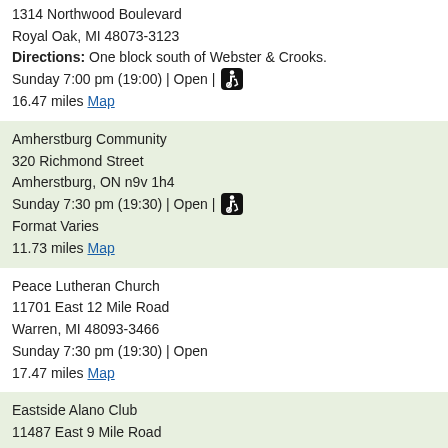1314 Northwood Boulevard
Royal Oak, MI 48073-3123
Directions: One block south of Webster & Crooks.
Sunday 7:00 pm (19:00) | Open | [wheelchair]
16.47 miles Map
Amherstburg Community
320 Richmond Street
Amherstburg, ON n9v 1h4
Sunday 7:30 pm (19:30) | Open | [wheelchair]
Format Varies
11.73 miles Map
Peace Lutheran Church
11701 East 12 Mile Road
Warren, MI 48093-3466
Sunday 7:30 pm (19:30) | Open
17.47 miles Map
Eastside Alano Club
11487 East 9 Mile Road
Warren, MI 48089-2584
Directions: 1 blocks west of Hoover
Sunday 10:00 pm (22:00) | Open | [wheelchair]
14.67 miles Map